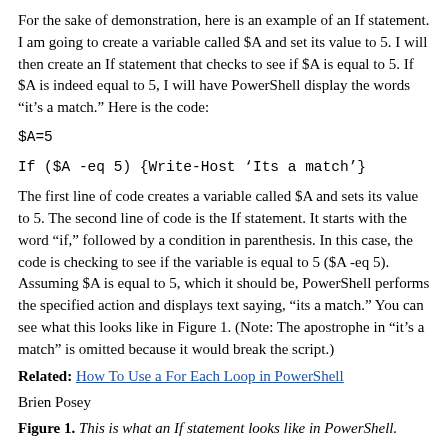For the sake of demonstration, here is an example of an If statement. I am going to create a variable called $A and set its value to 5. I will then create an If statement that checks to see if $A is equal to 5. If $A is indeed equal to 5, I will have PowerShell display the words “it’s a match.” Here is the code:
$A=5
If ($A -eq 5) {Write-Host ‘Its a match’}
The first line of code creates a variable called $A and sets its value to 5. The second line of code is the If statement. It starts with the word “if,” followed by a condition in parenthesis. In this case, the code is checking to see if the variable is equal to 5 ($A -eq 5). Assuming $A is equal to 5, which it should be, PowerShell performs the specified action and displays text saying, “its a match.” You can see what this looks like in Figure 1. (Note: The apostrophe in “it’s a match” is omitted because it would break the script.)
Related: How To Use a For Each Loop in PowerShell
Brien Posey
Figure 1. This is what an If statement looks like in PowerShell.
So, what would happen if the $A variable were set to something